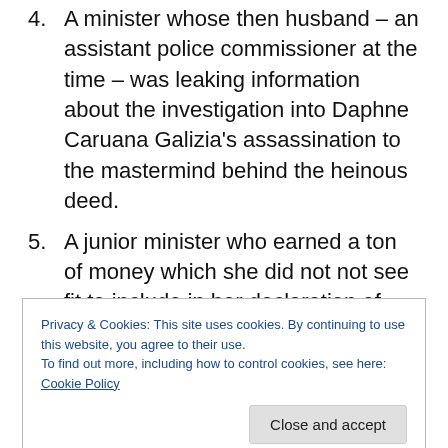4. A minister whose then husband – an assistant police commissioner at the time – was leaking information about the investigation into Daphne Caruana Galizia's assassination to the mastermind behind the heinous deed.
5. A junior minister who earned a ton of money which she did not not see fit to include in her declaration of assets.
After Muscat was forced out of office and Robert Abela was elected Prime Minister in his stead, Abela
Privacy & Cookies: This site uses cookies. By continuing to use this website, you agree to their use.
To find out more, including how to control cookies, see here: Cookie Policy